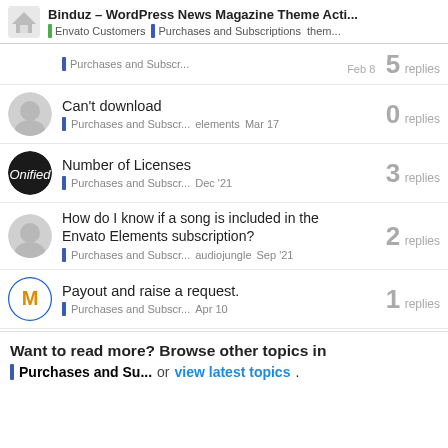Binduz – WordPress News Magazine Theme Acti... | Envato Customers | Purchases and Subscriptions them...
Purchases and Subscr...  Feb 8  5 replies
Can't download
Purchases and Subscr...  elements  Mar 17  0 replies
Number of Licenses
Purchases and Subscr...  Dec '21  3 replies
How do I know if a song is included in the Envato Elements subscription?
Purchases and Subscr...  audiojungle  Sep '21  2 replies
Payout and raise a request.
Purchases and Subscr...  Apr 10  1 replies
Want to read more? Browse other topics in Purchases and Su... or view latest topics.